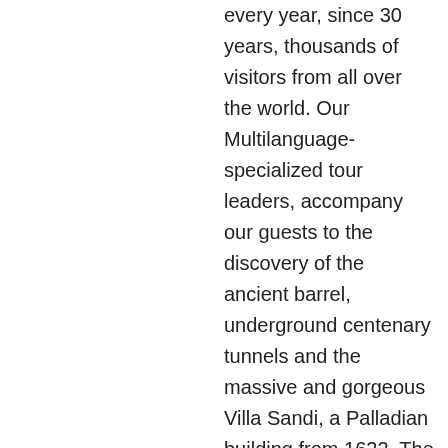every year, since 30 years, thousands of visitors from all over the world. Our Multilanguage-specialized tour leaders, accompany our guests to the discovery of the ancient barrel, underground centenary tunnels and the massive and gorgeous Villa Sandi, a Palladian building from 1622. The visit includes also the tasting of our high quality white wines “Prosecco”, and “Classic Method – Opere Trevigiane”, but also prestigious red wines. The emotion continues. If you’d like to taste the typical venetian cooking, our